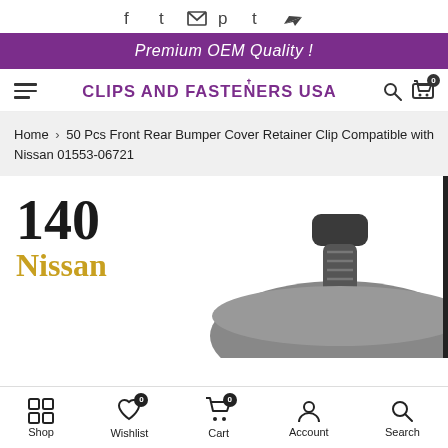f  t  ✉  p  t  ➤
Premium OEM Quality !
CLIPS AND FASTENERS USA
Home > 50 Pcs Front Rear Bumper Cover Retainer Clip Compatible with Nissan 01553-06721
[Figure (photo): Product image showing a black bumper retainer clip with top cap visible, with overlaid text showing '140' and 'Nissan' on the left side]
Shop  Wishlist  Cart  Account  Search